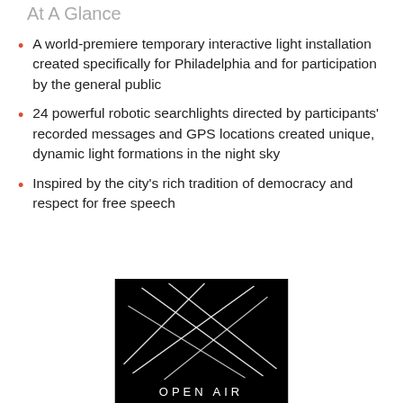At A Glance
A world-premiere temporary interactive light installation created specifically for Philadelphia and for participation by the general public
24 powerful robotic searchlights directed by participants' recorded messages and GPS locations created unique, dynamic light formations in the night sky
Inspired by the city's rich tradition of democracy and respect for free speech
[Figure (logo): Open Air logo — white crossing light beams on black background with text 'OPEN AIR' at bottom]